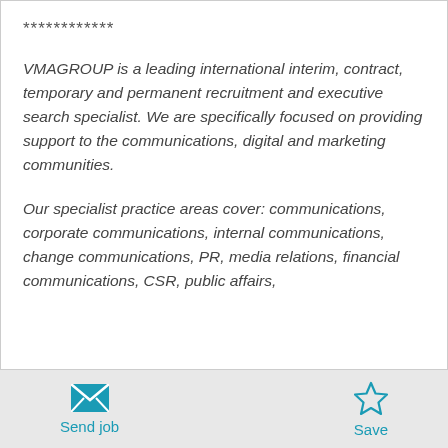************
VMAGROUP is a leading international interim, contract, temporary and permanent recruitment and executive search specialist. We are specifically focused on providing support to the communications, digital and marketing communities.
Our specialist practice areas cover: communications, corporate communications, internal communications, change communications, PR, media relations, financial communications, CSR, public affairs,
Send job  Save